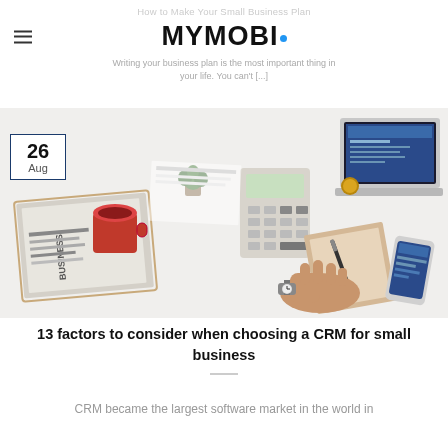How to Make Your Small Business Plan
MYMOBI.
Writing your business plan is the most important thing in your life. You can't [...]
[Figure (photo): Overhead view of a business desk with a laptop, calculator, coffee cup, business newspaper, notebook, pen, phone, and a person's hands, with a date badge showing 26 Aug]
13 factors to consider when choosing a CRM for small business
CRM became the largest software market in the world in